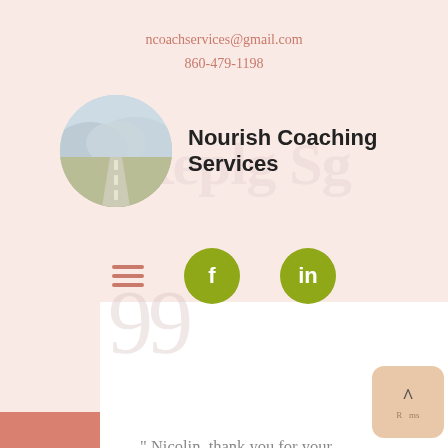ncoachservices@gmail.com
860-479-1198
[Figure (logo): Nourish Coaching Services logo: circular photo of a road stretching into mountains, next to bold text 'Nourish Coaching Services']
[Figure (infographic): Navigation bar with hamburger menu icon (three salmon-colored horizontal lines) and two olive-green circular social media buttons: Facebook (f) and LinkedIn (in)]
“ Nicolin, thank you for your kind, creative, and inspirational workshop you provided for the COSC Students and Alumni (and me). The Vision Board Workshop provided an opportunity for...